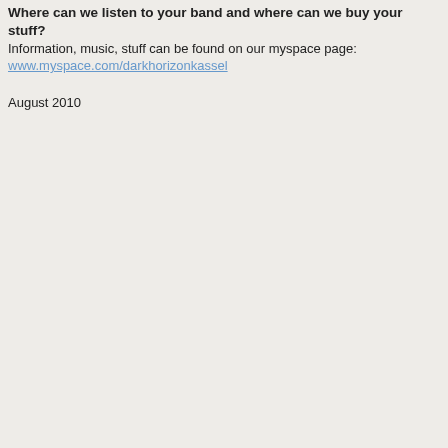Where can we listen to your band and where can we buy your stuff?
Information, music, stuff can be found on our myspace page:
www.myspace.com/darkhorizonkassel
August 2010